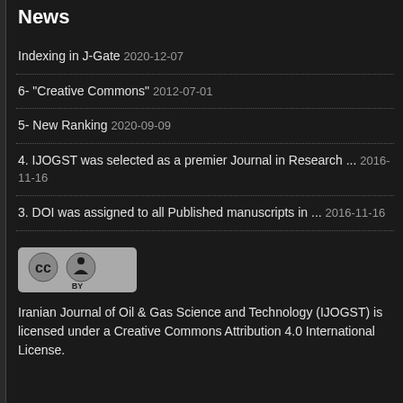News
Indexing in J-Gate 2020-12-07
6- "Creative Commons" 2012-07-01
5- New Ranking 2020-09-09
4. IJOGST was selected as a premier Journal in Research ... 2016-11-16
3. DOI was assigned to all Published manuscripts in ... 2016-11-16
[Figure (logo): Creative Commons Attribution (CC BY) license badge]
Iranian Journal of Oil & Gas Science and Technology (IJOGST) is licensed under a Creative Commons Attribution 4.0 International License.